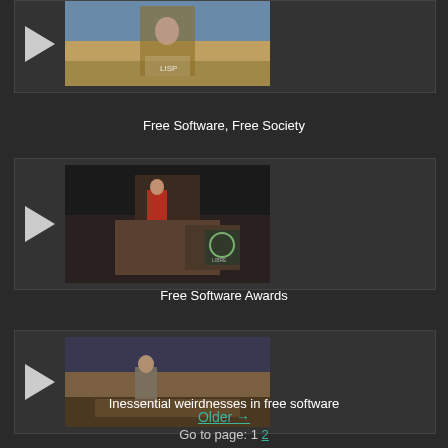[Figure (photo): Partially visible video thumbnail showing person at podium in auditorium with LibrePlanet logo, top portion cut off]
Free Software, Free Society
[Figure (photo): Video thumbnail showing person in red top standing at podium in auditorium with LibrePlanet banner]
Free Software Awards
[Figure (photo): Video thumbnail showing person in grey jacket at a table/podium in auditorium]
Inessential weirdnesses in free software
Older →
Go to page: 1 2